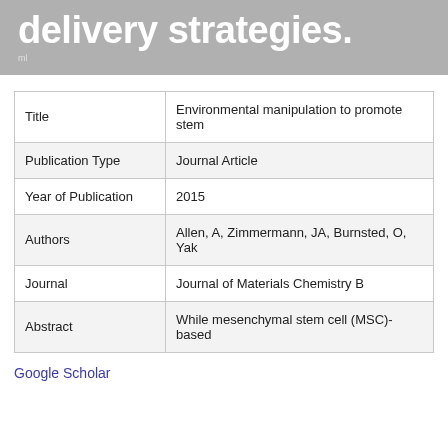delivery strategies.
| Field | Value |
| --- | --- |
| Title | Environmental manipulation to promote stem |
| Publication Type | Journal Article |
| Year of Publication | 2015 |
| Authors | Allen, A, Zimmermann, JA, Burnsted, O, Yak |
| Journal | Journal of Materials Chemistry B |
| Abstract | While mesenchymal stem cell (MSC)-based |
Google Scholar